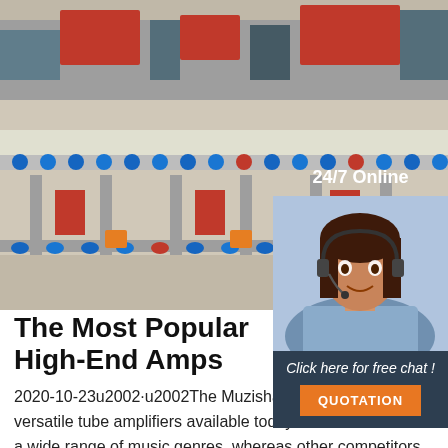[Figure (photo): Industrial conveyor belt system in a factory setting with blue rollers and red accents, viewed from a low angle]
[Figure (infographic): 24/7 Online chat widget with a female customer service agent wearing a headset, and a 'QUOTATION' button]
The Most Popular High-End Amps
2020-10-23u2002·u2002The Muzishare of the most versatile tube amplifiers available today. It can be used for a wide range of music genres, whereas other competitors are designed for certain genres only. It can be linked to a preamp signal input, and with the aid of the phono function, you can easily connect it to your phono